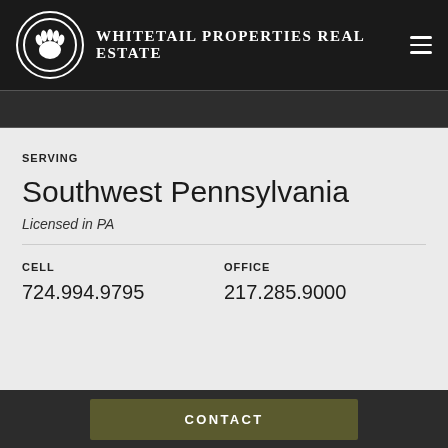Whitetail Properties Real Estate
SERVING
Southwest Pennsylvania
Licensed in PA
CELL
724.994.9795
OFFICE
217.285.9000
CONTACT